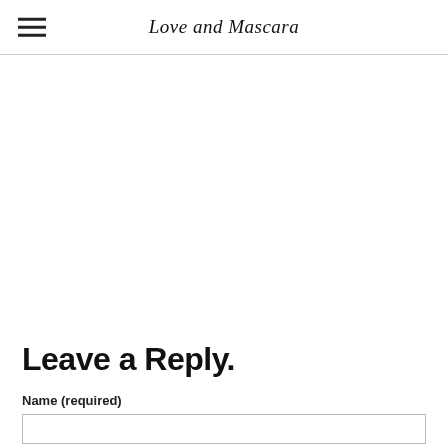Love and Mascara
Leave a Reply.
Name (required)